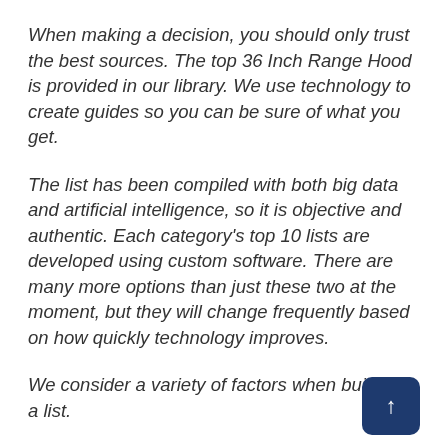When making a decision, you should only trust the best sources. The top 36 Inch Range Hood is provided in our library. We use technology to create guides so you can be sure of what you get.
The list has been compiled with both big data and artificial intelligence, so it is objective and authentic. Each category's top 10 lists are developed using custom software. There are many more options than just these two at the moment, but they will change frequently based on how quickly technology improves.
We consider a variety of factors when building a list.
We have proprietary data that tells us what users